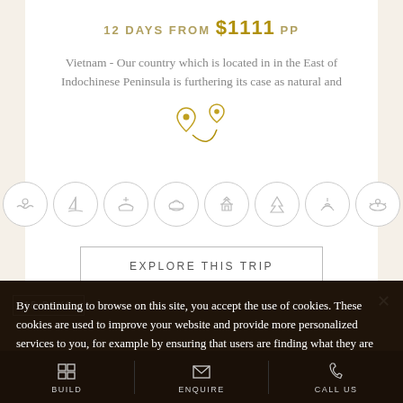12 DAYS FROM $1111 PP
Vietnam - Our country which is located in in the East of Indochinese Peninsula is furthering its case as natural and
[Figure (illustration): Gold location pin icons connected by a curved line, representing a travel route map]
[Figure (infographic): Eight circular icon badges representing travel activities: swimming, sailing, boating, snorkeling/dining, temple/culture, nature/trees, resort/food, kayaking]
EXPLORE THIS TRIP
15 DAYS
By continuing to browse on this site, you accept the use of cookies. These cookies are used to improve your website and provide more personalized services to you, for example by ensuring that users are finding what they are looking for easily.
BUILD
ENQUIRE
CALL US